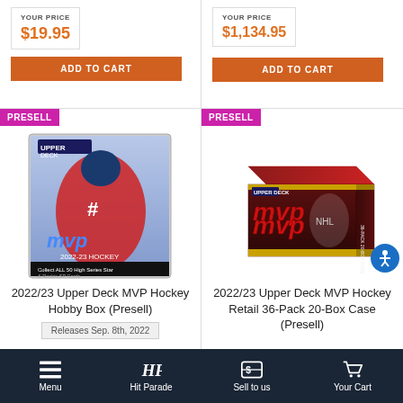YOUR PRICE $19.95
ADD TO CART
YOUR PRICE $1,134.95
ADD TO CART
PRESELL
[Figure (photo): 2022/23 Upper Deck MVP Hockey Hobby Box trading card product image]
2022/23 Upper Deck MVP Hockey Hobby Box (Presell)
Releases Sep. 8th, 2022
PRESELL
[Figure (photo): 2022/23 Upper Deck MVP Hockey Retail 36-Pack 20-Box Case trading card product box image]
2022/23 Upper Deck MVP Hockey Retail 36-Pack 20-Box Case (Presell)
Menu | Hit Parade | Sell to us | Your Cart